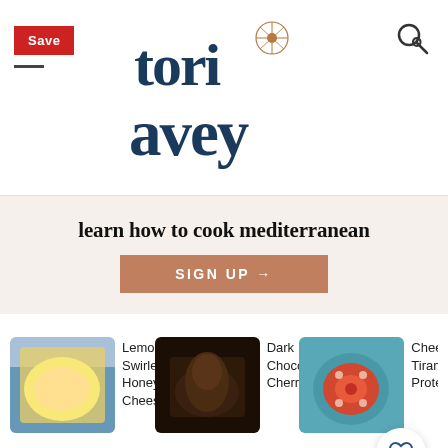[Figure (logo): Tori Avey website logo with decorative serif font and floral ornament]
Save
learn how to cook mediterranean
SIGN UP →
[Figure (photo): Lemon Swirled Honey Cheesecake thumbnail]
Lemon Swirled Honey Cheesecake
[Figure (photo): Dark Chocolate Cherry thumbnail]
Dark Chocolate Cherry...
[Figure (photo): Cheesecake Tiramisu Protein partial thumbnail]
Chees... Tirami... Protein...
[Figure (photo): Close-up photo of cheesecake with dark cherry topping and sauce on a plate]